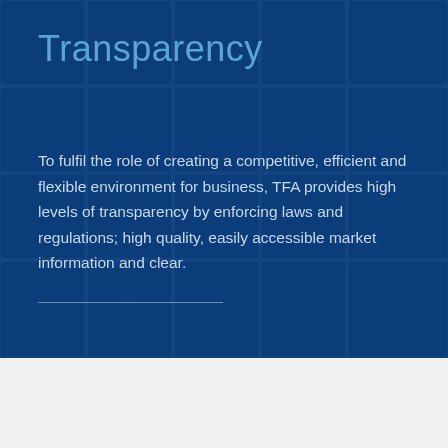Transparency
To fulfil the role of creating a competitive, efficient and flexible environment for business, TFA provides high levels of transparency by enforcing laws and regulations; high quality, easily accessible market information and clear.